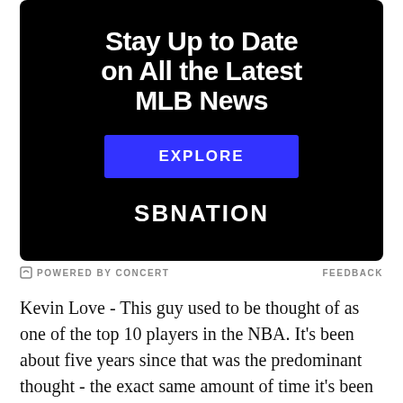[Figure (other): SBNation advertisement banner with black background. Text reads 'Stay Up to Date on All the Latest MLB News' with a blue 'EXPLORE' button and 'SBNATION' logo at the bottom.]
POWERED BY CONCERT   FEEDBACK
Kevin Love - This guy used to be thought of as one of the top 10 players in the NBA. It's been about five years since that was the predominant thought - the exact same amount of time it's been since he last played without LeBron. Being on a team without LeBron, without any serious post-season aspirations, becoming the #1 shooting option, and playing 34+ mpg